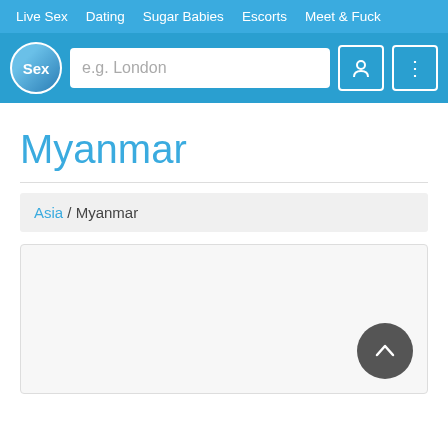Live Sex  Dating  Sugar Babies  Escorts  Meet & Fuck
[Figure (screenshot): Website search bar with Sex logo, location input placeholder 'e.g. London', user icon button and menu icon button]
Myanmar
Asia / Myanmar
[Figure (other): Large content area with scroll-to-top button (chevron up inside dark circle) in bottom right corner]